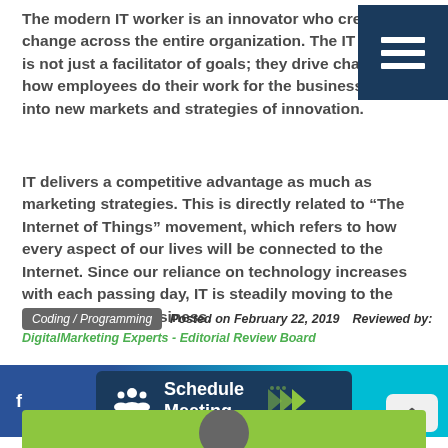The modern IT worker is an innovator who creates change across the entire organization. The IT worker is not just a facilitator of goals; they drive change on how employees do their work for the business to grow into new markets and strategies of innovation.
[Figure (other): Navigation menu button (hamburger icon) — dark navy background with three white horizontal lines]
IT delivers a competitive advantage as much as marketing strategies. This is directly related to “The Internet of Things” movement, which refers to how every aspect of our lives will be connected to the Internet. Since our reliance on technology increases with each passing day, IT is steadily moving to the front end of the business.
Coding / Programming   Posted on February 22, 2019   Reviewed by: Digital Marketing Experts - Editorial Review Board
[Figure (other): Schedule Meeting banner button with people icon and green arrow indicators on a blue/cyan gradient background]
[Figure (other): Green banner at the bottom with avatar circle, partially visible]